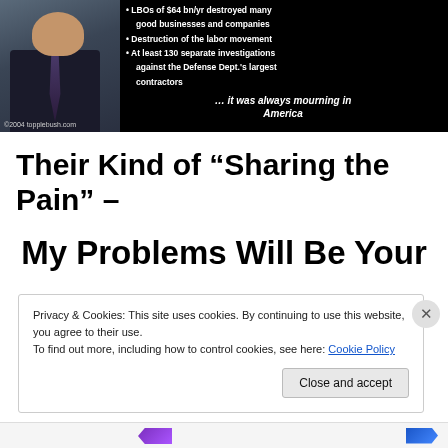[Figure (photo): Screenshot of a political image with a man in a suit on the left and bullet points on a black background on the right reading: 'LBOs of $64 bn/yr destroyed many good businesses and companies', 'Destruction of the labor movement', 'At least 130 separate investigations against the Defense Dept.'s largest contractors', followed by '… it was always mourning in America'. Copyright 2004 topplebush.com.]
Their Kind of “Sharing the Pain” –
My Problems Will Be Your
Privacy & Cookies: This site uses cookies. By continuing to use this website, you agree to their use.
To find out more, including how to control cookies, see here: Cookie Policy
Close and accept